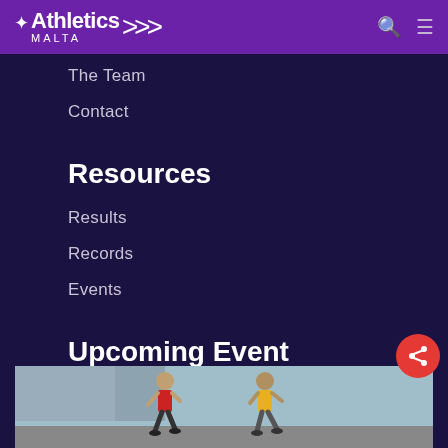[Figure (logo): Athletics Malta logo with star, swoosh lines on purple header bar]
The Team
Contact
Resources
Results
Records
Events
Upcoming Event
[Figure (photo): Two male runners racing, one in red jersey and one in yellow jersey, outdoors athletic track]
[Figure (other): Red circular share button with share icon]